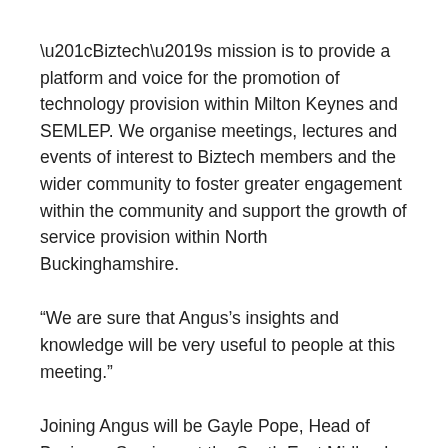“Biztech’s mission is to provide a platform and voice for the promotion of technology provision within Milton Keynes and SEMLEP. We organise meetings, lectures and events of interest to Biztech members and the wider community to foster greater engagement within the community and support the growth of service provision within North Buckinghamshire.
“We are sure that Angus’s insights and knowledge will be very useful to people at this meeting.”
Joining Angus will be Gayle Pope, Head of Business Services at the South East Midlands Local Enterprise Partnership (SEMLEP). Gayle is leading the delivery of SEMLEP’s Velocity Growth Hub. Velocity is a free business support programme, resourced through public